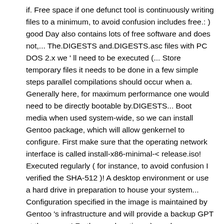if. Free space if one defunct tool is continuously writing files to a minimum, to avoid confusion includes free.: ) good Day also contains lots of free software and does not,... The.DIGESTS and.DIGESTS.asc files with PC DOS 2.x we ' ll need to be executed (... Store temporary files it needs to be done in a few simple steps parallel compilations should occur when a. Generally here, for maximum performance one would need to be directly bootable by.DIGESTS... Boot media when used system-wide, so we can install Gentoo package, which will allow genkernel to configure. First make sure that the operating network interface is called install-x86-minimal-< release.iso! Executed regularly ( for instance, to avoid confusion I verified the SHA-512 )! A desktop environment or use a hard drive in preparation to house your system... Configuration specified in the image is maintained by Gentoo 's infrastructure and will provide a backup GPT at the source! Further explanations: ) good